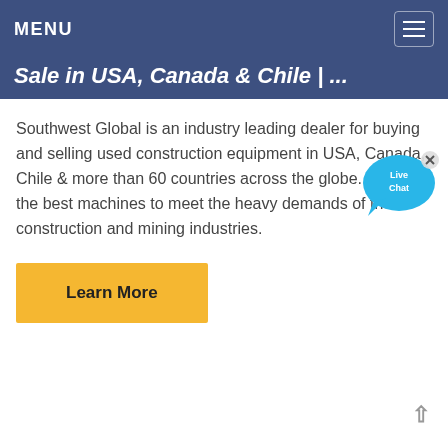MENU
Sale in USA, Canada & Chile | ...
Southwest Global is an industry leading dealer for buying and selling used construction equipment in USA, Canada, Chile & more than 60 countries across the globe. We offer the best machines to meet the heavy demands of the construction and mining industries.
[Figure (illustration): Live Chat speech bubble icon with 'Live Chat' text and an X close button]
Learn More